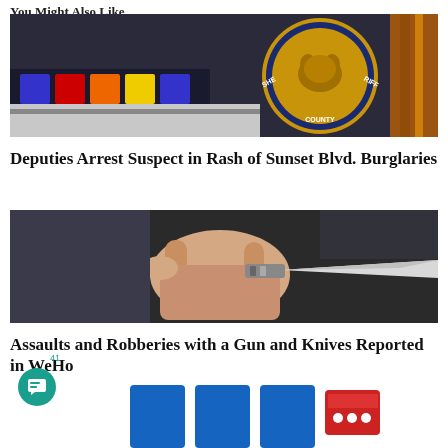You Might Also Like
[Figure (photo): Police car lights with a California county sheriff badge in the background]
Deputies Arrest Suspect in Rash of Sunset Blvd. Burglaries
[Figure (photo): A hand holding a butterfly knife against a dark background]
Assaults and Robberies with a Gun and Knives Reported in WeHo
[Figure (photo): Partial view of a blue logo with red element at bottom of page]